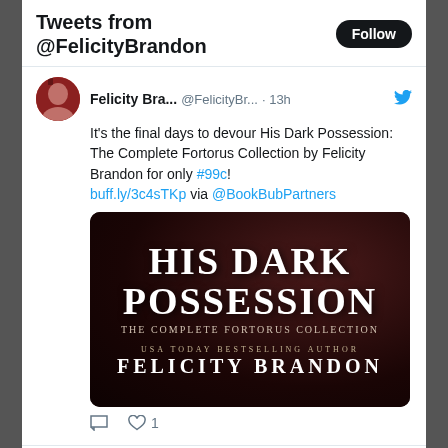Tweets from @FelicityBrandon
Felicity Bra... @FelicityBr... · 13h
It's the final days to devour His Dark Possession: The Complete Fortorus Collection by Felicity Brandon for only #99c! buff.ly/3c4sTKp via @BookBubPartners
[Figure (illustration): Book cover for 'His Dark Possession: The Complete Fortorus Collection' by Felicity Brandon, USA Today Bestselling Author. Dark red/black background.]
1 like
Felicity Bra... @FelicityBr... · 20h